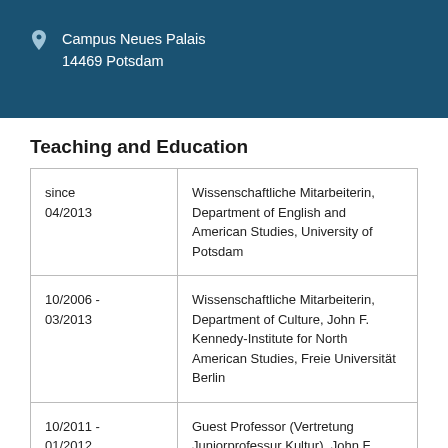Campus Neues Palais
14469 Potsdam
Teaching and Education
| Period | Description |
| --- | --- |
| since 04/2013 | Wissenschaftliche Mitarbeiterin, Department of English and American Studies, University of Potsdam |
| 10/2006 - 03/2013 | Wissenschaftliche Mitarbeiterin, Department of Culture, John F. Kennedy-Institute for North American Studies, Freie Universität Berlin |
| 10/2011 - 01/2012 | Guest Professor (Vertretung Juniorprofessur Kultur), John F. Kennedy-Institute for North American Studies, Freie Universität Berlin |
| 09/2007 - 09/2011 | Wissenschaftliche Mitarbeiterin, DFG-Project "American Cosmopolitanism," Department of |